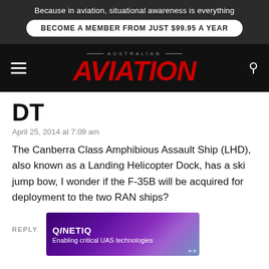Because in aviation, situational awareness is everything
BECOME A MEMBER FROM JUST $99.95 A YEAR
[Figure (logo): Australian Aviation magazine logo with red italic AVIATION text on black background]
DT
April 25, 2014 at 7:09 am
The Canberra Class Amphibious Assault Ship (LHD), also known as a Landing Helicopter Dock, has a ski jump bow, I wonder if the F-35B will be acquired for deployment to the two RAN ships?
REPLY
[Figure (advertisement): QinetiQ advertisement: Enabling critical UAS technologies, purple gradient background with ship imagery]